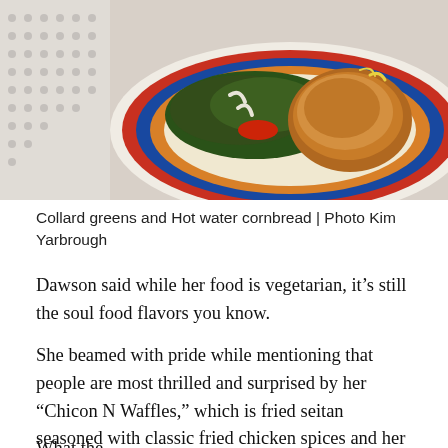[Figure (photo): A colorful plate with collard greens and hot water cornbread on a patterned background, with dotted fabric visible in the upper left corner.]
Collard greens and Hot water cornbread | Photo Kim Yarbrough
Dawson said while her food is vegetarian, it’s still the soul food flavors you know.
She beamed with pride while mentioning that people are most thrilled and surprised by her “Chicon N Waffles,” which is fried seitan seasoned with classic fried chicken spices and her family recipe spin and a crispy, egg-free waffle.
What the...